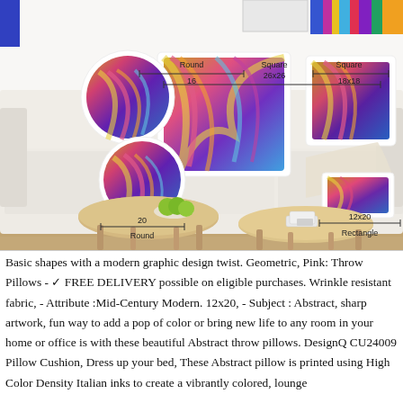[Figure (photo): Product lifestyle photo showing decorative throw pillows on a white sofa with dimension annotations. Multiple pillow shapes shown: Round 16, Square 26x26, Square 18x18, Round 20, Rectangle 12x20. Coffee table with apples and tissue box visible. Colorful abstract art design on all pillows.]
Basic shapes with a modern graphic design twist. Geometric, Pink: Throw Pillows - ✓ FREE DELIVERY possible on eligible purchases. Wrinkle resistant fabric, - Attribute :Mid-Century Modern. 12x20, - Subject : Abstract, sharp artwork, fun way to add a pop of color or bring new life to any room in your home or office is with these beautiful Abstract throw pillows. DesignQ CU24009 Pillow Cushion, Dress up your bed, These Abstract pillow is printed using High Color Density Italian inks to create a vibrantly colored, lounge